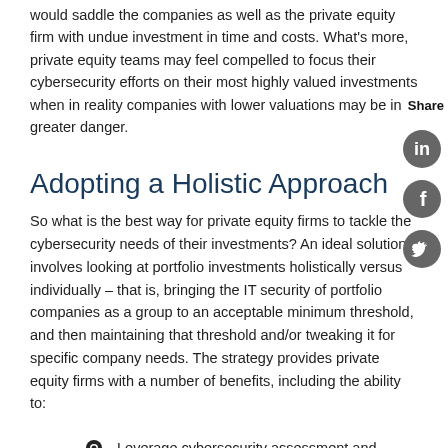would saddle the companies as well as the private equity firm with undue investment in time and costs. What's more, private equity teams may feel compelled to focus their cybersecurity efforts on their most highly valued investments when in reality companies with lower valuations may be in greater danger.
Share
Adopting a Holistic Approach
So what is the best way for private equity firms to tackle the cybersecurity needs of their investments? An ideal solution involves looking at portfolio investments holistically versus individually – that is, bringing the IT security of portfolio companies as a group to an acceptable minimum threshold, and then maintaining that threshold and/or tweaking it for specific company needs. The strategy provides private equity firms with a number of benefits, including the ability to:
Leverage cybersecurity assessment and protection spend across the portfolio, creating